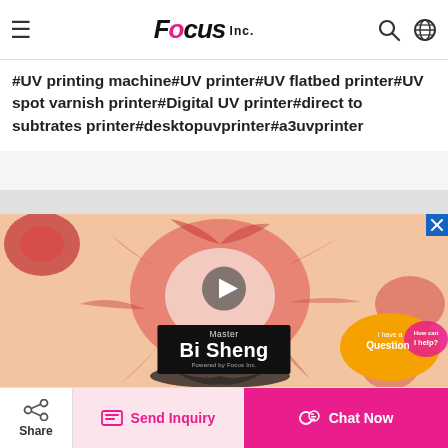Focus Inc.
#UV printing machine#UV printer#UV flatbed printer#UV spot varnish printer#Digital UV printer#direct to subtrates printer#desktopuvprinter#a3uvprinter
[Figure (screenshot): Video thumbnail showing abstract red ink splash on beige/peach background with a play button overlay and a title card reading 'Master Bi Sheng, Powered by Focus Inc.']
[Figure (illustration): Customer support chat bubble with orange/pink gradient speech bubble saying 'I have a Question, How can I help?']
Share | Send Inquiry | Chat Now